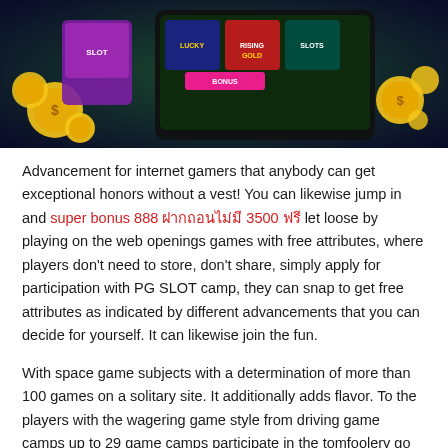[Figure (illustration): Colorful online casino/slot game banner with coins, slot machine icons, and game logos including 'RISING GOLD' on a dark background]
Advancement for internet gamers that anybody can get exceptional honors without a vest! You can likewise jump in and super bonus 888 ฝากถอนไม่มี 3500 ฟรี let loose by playing on the web openings games with free attributes, where players don't need to store, don't share, simply apply for participation with PG SLOT camp, they can snap to get free attributes as indicated by different advancements that you can decide for yourself. It can likewise join the fun.
With space game subjects with a determination of more than 100 games on a solitary site. It additionally adds flavor. To the players with the wagering game style from driving game camps up to 29 game camps participate in the tomfoolery go